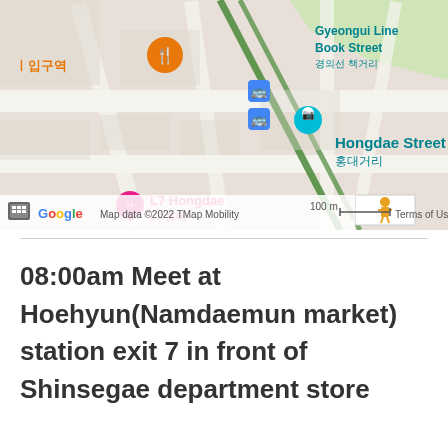[Figure (map): Google Maps screenshot showing Hongdae area in Seoul, Korea. Visible landmarks include L7 Hongdae hotel, Hongdae Street (홍대거리), Gyeongui Line Book Street (경의선 책거리). Map data ©2022 TMap Mobility, scale bar showing 100m, Terms of Use link visible. Street view pegman icon visible. Blue bus station icons and orange restaurant icon visible.]
08:00am Meet at Hoehyun(Namdaemun market) station exit 7 in front of Shinsegae department store